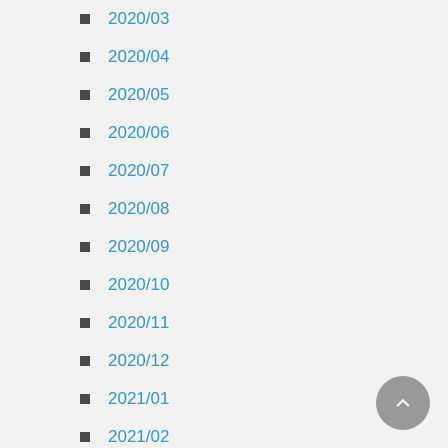2020/03
2020/04
2020/05
2020/06
2020/07
2020/08
2020/09
2020/10
2020/11
2020/12
2021/01
2021/02
2021/03
2021/04
2021/05
2021/07
2021/09